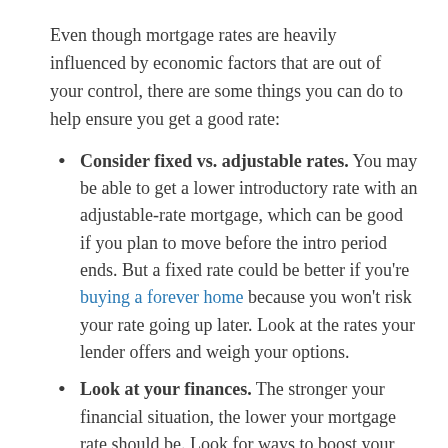Even though mortgage rates are heavily influenced by economic factors that are out of your control, there are some things you can do to help ensure you get a good rate:
Consider fixed vs. adjustable rates. You may be able to get a lower introductory rate with an adjustable-rate mortgage, which can be good if you plan to move before the intro period ends. But a fixed rate could be better if you're buying a forever home because you won't risk your rate going up later. Look at the rates your lender offers and weigh your options.
Look at your finances. The stronger your financial situation, the lower your mortgage rate should be. Look for ways to boost your credit score or lower your debt-to-income ratio,